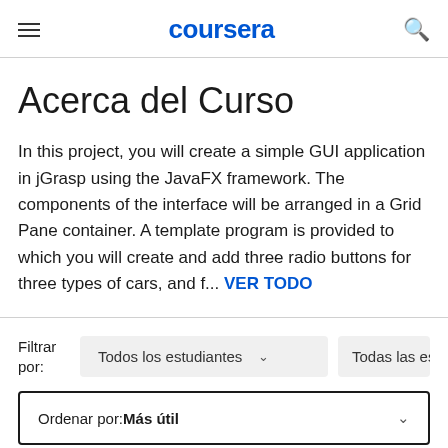coursera
Acerca del Curso
In this project, you will create a simple GUI application in jGrasp using the JavaFX framework. The components of the interface will be arranged in a Grid Pane container. A template program is provided to which you will create and add three radio buttons for three types of cars, and f... VER TODO
Filtrar por: Todos los estudiantes ∨  Todas las estr
Ordenar por: Más útil ∨